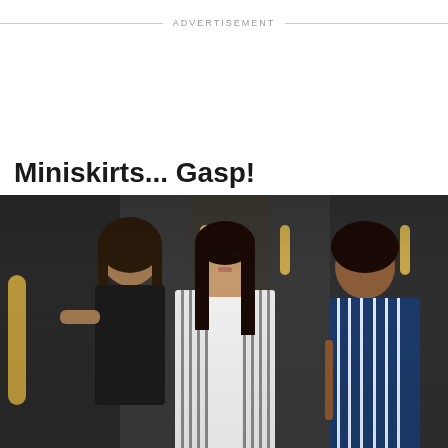ADVERTISEMENT
Miniskirts... Gasp!
[Figure (photo): A woman with long dark hair wearing a striped blazer over a white top walks through what appears to be a hotel or building entrance with gold door handles. Two other women are visible behind her, one in a blue striped outfit.]